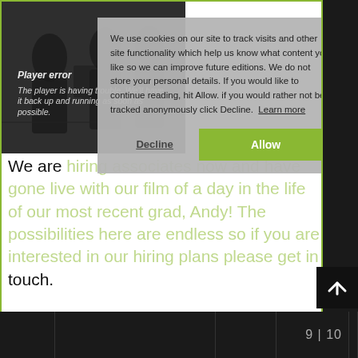[Figure (screenshot): Screenshot of a webpage with a dark photo area showing silhouetted people, overlaid by a cookie consent modal dialog and a player error message. Below the modal is article text. A black scroll-up button is in the bottom right. A dark bottom navigation bar shows page number 9|10.]
Player error
The player is having trouble. We'll have it back up and running as soon as possible.
We use cookies on our site to track visits and other site functionality which help us know what content you like so we can improve future editions. We do not store your personal details. If you would like to continue reading, hit Allow. if you would rather not be tracked anonymously click Decline. Learn more
Decline
Allow
We are hiring associates now and have gone live with our film of a day in the life of our most recent grad, Andy! The possibilities here are endless so if you are interested in our hiring plans please get in touch.
9 | 10